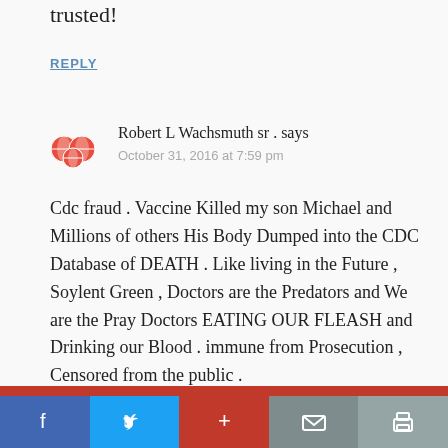trusted!
REPLY
Robert L Wachsmuth sr . says
October 31, 2016 at 7:59 pm
Cdc fraud . Vaccine Killed my son Michael and Millions of others His Body Dumped into the CDC Database of DEATH . Like living in the Future , Soylent Green , Doctors are the Predators and We are the Pray Doctors EATING OUR FLEASH and Drinking our Blood . immune from Prosecution , Censored from the public .
REPLY